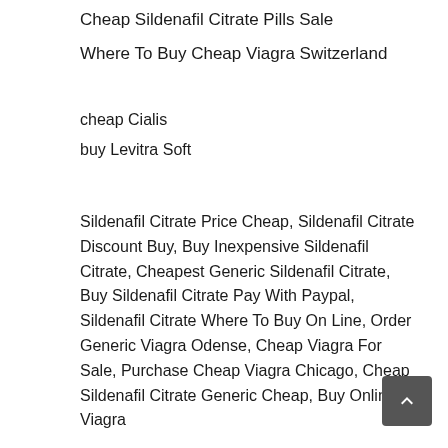Cheap Sildenafil Citrate Pills Sale
Where To Buy Cheap Viagra Switzerland
cheap Cialis
buy Levitra Soft
Sildenafil Citrate Price Cheap, Sildenafil Citrate Discount Buy, Buy Inexpensive Sildenafil Citrate, Cheapest Generic Sildenafil Citrate, Buy Sildenafil Citrate Pay With Paypal, Sildenafil Citrate Where To Buy On Line, Order Generic Viagra Odense, Cheap Viagra For Sale, Purchase Cheap Viagra Chicago, Cheap Sildenafil Citrate Generic Cheap, Buy Online Viagra